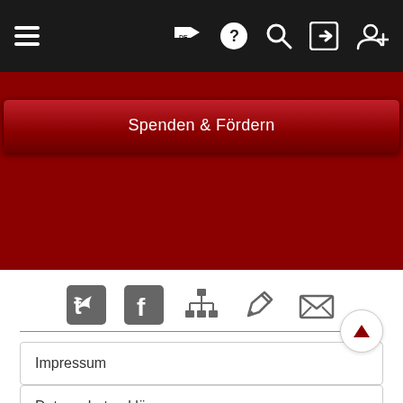[Figure (screenshot): Navigation bar with hamburger menu icon on the left and icons (flag with DE, question mark, search, login, add user) on the right, on dark background]
[Figure (screenshot): Red hero banner with a 'Spenden & Fördern' (Donate & Sponsor) button]
[Figure (screenshot): Social media icons row: Twitter, Facebook, sitemap/share, edit/pencil, email envelope]
Impressum
Datenschutzerklärung